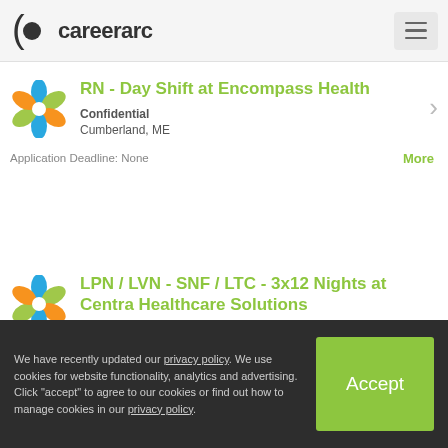CareerArc
RN - Day Shift at Encompass Health
Confidential
Cumberland, ME
Application Deadline: None
LPN / LVN - SNF / LTC - 3x12 Nights at Centra Healthcare Solutions
Confidential
Scarborough, ME
Application Deadline: None
We have recently updated our privacy policy. We use cookies for website functionality, analytics and advertising. Click "accept" to agree to our cookies or find out how to manage cookies in our privacy policy.